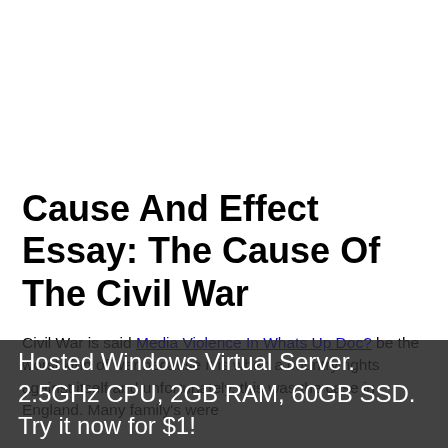Cause And Effect Essay: The Cause Of The Civil War
Civil War is said Media Violence In Whats Up Doc? be the worst kind of war because it is when a country fights against itself and unfortunately, this was the case in England. Many family's were
Hosted Windows Virtual Server. 2.5GHz CPU, 2GB RAM, 60GB SSD. Try it now for $1!